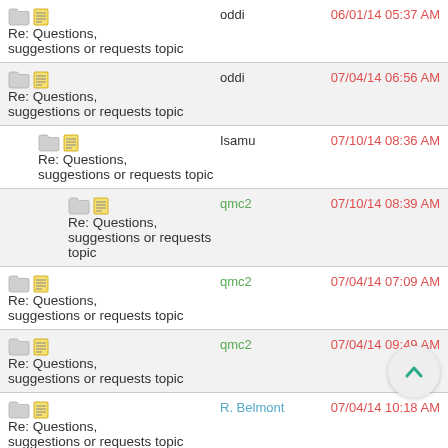Re: Questions, suggestions or requests topic | oddi | 06/01/14 05:37 AM
Re: Questions, suggestions or requests topic | oddi | 07/04/14 06:56 AM
Re: Questions, suggestions or requests topic | Isamu | 07/10/14 08:36 AM
Re: Questions, suggestions or requests topic | qmc2 | 07/10/14 08:39 AM
Re: Questions, suggestions or requests topic | qmc2 | 07/04/14 07:09 AM
Re: Questions, suggestions or requests topic | qmc2 | 07/04/14 09:49 AM
Re: Questions, suggestions or requests topic | R. Belmont | 07/04/14 10:18 AM
Re: Questions, suggestions or requests topic | oddi | 07/09/14 06:10 PM
Re: Questions, suggestions or requests topic | qmc2 | 07/10/14 09:23 AM
Re: Questions, suggestions or requests topic | qmc2 | 07/09/14 06:26 PM